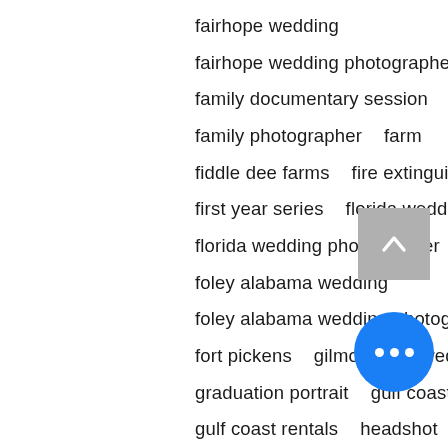fairhope wedding
fairhope wedding photographer   family
family documentary session
family photographer   farm
fiddle dee farms   fire extinguisher sendoff
first year series   florida wedding
florida wedding photographer
foley alabama wedding
foley alabama wedding photographer
fort pickens   gilmore girls wedding
graduation portrait   gulf coast media
gulf coast rentals   headshot
hotel magnolia   jessi casara photogra…
jubilee events and design   kayla glosson